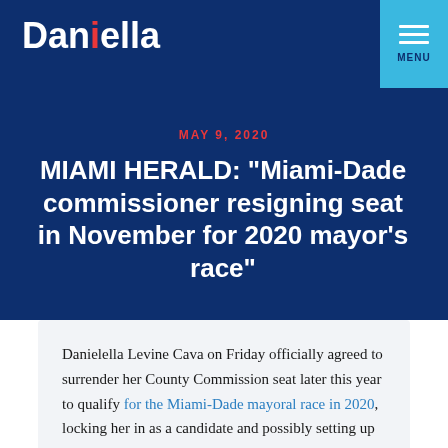Danielella
MAY 9, 2020
MIAMI HERALD: “Miami-Dade commissioner resigning seat in November for 2020 mayor’s race”
Danielella Levine Cava on Friday officially agreed to surrender her County Commission seat later this year to qualify for the Miami-Dade mayoral race in 2020, locking her in as a candidate and possibly setting up an early election to replace her.
Levine Cava’s resignation, effective Nov. 16, wasn’t a surprise, and was required to comply with